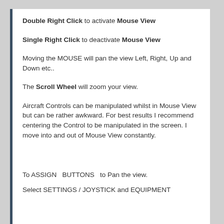Double Right Click to activate Mouse View
Single Right Click to deactivate Mouse View
Moving the MOUSE will pan the view Left, Right, Up and Down etc..
The Scroll Wheel will zoom your view.
Aircraft Controls can be manipulated whilst in Mouse View but can be rather awkward. For best results I recommend centering the Control to be manipulated in the screen. I move into and out of Mouse View constantly.
To ASSIGN  BUTTONS  to Pan the view.
Select SETTINGS / JOYSTICK and EQUIPMENT